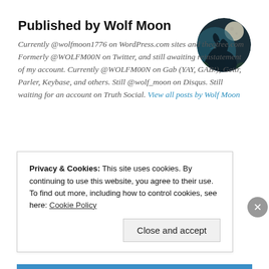Published by Wolf Moon
Currently @wolfmoon1776 on WordPress.com sites and theqtree.com Formerly @WOLFM00N on Twitter, and still awaiting reinstatement of my account. Currently @WOLFM00N on Gab (YAY, GAB!), Gettr, Parler, Keybase, and others. Still @wolf_moon on Disqus. Still waiting for an account on Truth Social. View all posts by Wolf Moon
[Figure (photo): Circular avatar image showing a wolf howling at a moon, with blue-green atmospheric tones]
Privacy & Cookies: This site uses cookies. By continuing to use this website, you agree to their use.
To find out more, including how to control cookies, see here: Cookie Policy
Close and accept